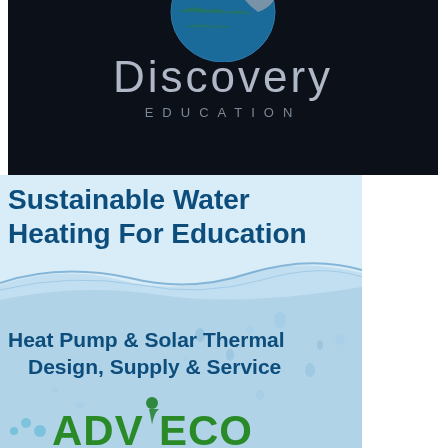[Figure (logo): Discovery Education logo on dark navy/black background with globe graphic at top and silver/gray text reading 'Discovery' in large letters and 'EDUCATION' in spaced caps below]
[Figure (illustration): Advertisement image with water splash background and text: 'Sustainable Water Heating For Education' in bold dark teal/navy, then 'Heat Pump & Solar Thermal Design, Supply & Service' in bold dark teal, and the ADVECO logo in green at the bottom]